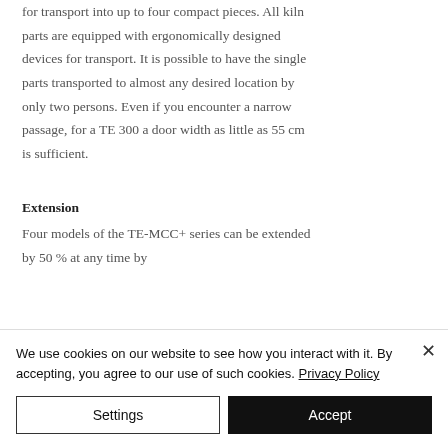for transport into up to four compact pieces. All kiln parts are equipped with ergonomically designed devices for transport. It is possible to have the single parts transported to almost any desired location by only two persons. Even if you encounter a narrow passage, for a TE 300 a door width as little as 55 cm is sufficient.
Extension
Four models of the TE-MCC+ series can be extended by 50 % at any time by
We use cookies on our website to see how you interact with it. By accepting, you agree to our use of such cookies. Privacy Policy